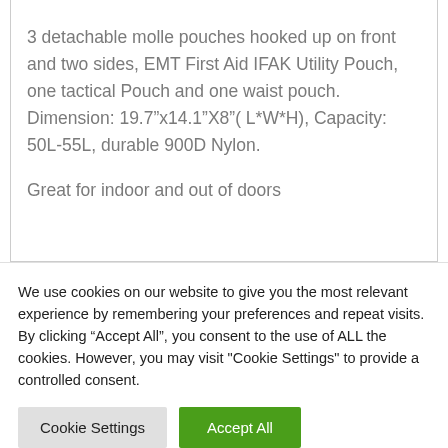days crucial. 3 detachable molle pouches hooked up on front and two sides, EMT First Aid IFAK Utility Pouch, one tactical Pouch and one waist pouch. Dimension: 19.7”x14.1”X8”( L*W*H), Capacity: 50L-55L, durable 900D Nylon. Great for indoor and out of doors
We use cookies on our website to give you the most relevant experience by remembering your preferences and repeat visits. By clicking “Accept All”, you consent to the use of ALL the cookies. However, you may visit "Cookie Settings" to provide a controlled consent.